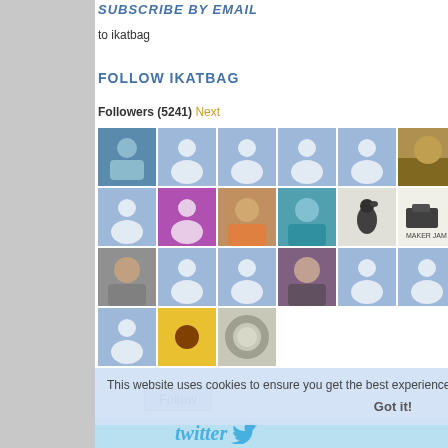SUBSCRIBE BY EMAIL
to ikatbag
FOLLOW IKATBAG
Followers (5241) Next
[Figure (screenshot): Grid of follower avatar thumbnails, mix of profile photos and default blue/purple person icons]
This website uses cookies to ensure you get the best experience on our website.
Got it!
RANDOM UPDATES
[Figure (logo): Twitter logo bar at bottom]
4.
I ca
Rep
5.
Wh
Rep
6.
I'm a c all b
Rep